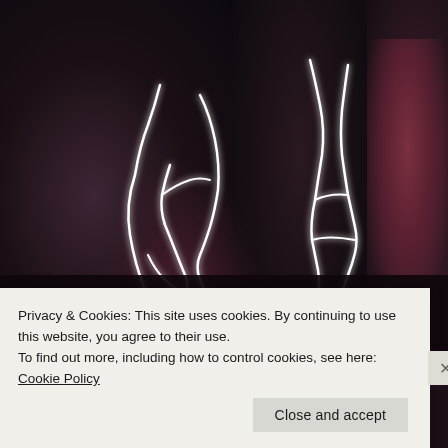[Figure (photo): Dark moody concert promotional image with neon light outlines of human figures over dark floral backgrounds in three panels]
3/25 – LOS ANGELES, CA – PALLADIUM
3/26 – LOS ANGELES, CA – PALLADIUM
10/21 – SAN DIEGO, CA – SOMA
10/22 – LAS VEGAS, NV – WHEN WE WERE YOUNG FEST
10/23 – LAS VEGAS, NV – WHEN WE WERE YOUNG FEST
10/25 – ANAHEIM, CA – HOUSE OF BLUES
11/14 – DETROIT, MI – MA
11/15 – CHICAGO, IL – RIV
11/16 – MINNEAPOLIS, MN
11/18 – DENVER, CO – FIL
11/19 – SALT LAKE CITY, U
11/21 – SEATTLE, WA – SH
Privacy & Cookies: This site uses cookies. By continuing to use this website, you agree to their use.
To find out more, including how to control cookies, see here: Cookie Policy
Close and accept